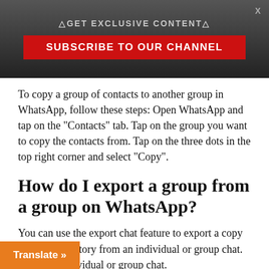△GET EXCLUSIVE CONTENT△
[Figure (other): Subscribe to our channel button on dark gradient banner with close X]
To copy a group of contacts to another group in WhatsApp, follow these steps: Open WhatsApp and tap on the "Contacts" tab. Tap on the group you want to copy the contacts from. Tap on the three dots in the top right corner and select "Copy".
How do I export a group from a group on WhatsApp?
You can use the export chat feature to export a copy of the chat history from an individual or group chat. Open the individual or group chat.
Tap More options > More > Export chat.
Choose whether to export with media or without
[Figure (other): Orange Translate button at the bottom left]